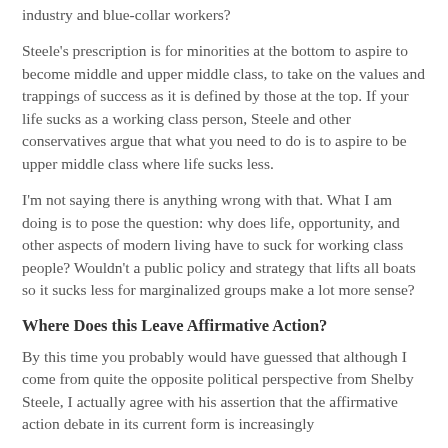industry and blue-collar workers?
Steele's prescription is for minorities at the bottom to aspire to become middle and upper middle class, to take on the values and trappings of success as it is defined by those at the top. If your life sucks as a working class person, Steele and other conservatives argue that what you need to do is to aspire to be upper middle class where life sucks less.
I'm not saying there is anything wrong with that. What I am doing is to pose the question: why does life, opportunity, and other aspects of modern living have to suck for working class people? Wouldn't a public policy and strategy that lifts all boats so it sucks less for marginalized groups make a lot more sense?
Where Does this Leave Affirmative Action?
By this time you probably would have guessed that although I come from quite the opposite political perspective from Shelby Steele, I actually agree with his assertion that the affirmative action debate in its current form is increasingly